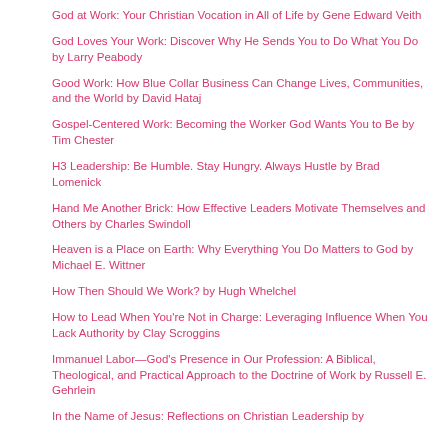God at Work: Your Christian Vocation in All of Life by Gene Edward Veith
God Loves Your Work: Discover Why He Sends You to Do What You Do by Larry Peabody
Good Work: How Blue Collar Business Can Change Lives, Communities, and the World by David Hataj
Gospel-Centered Work: Becoming the Worker God Wants You to Be by Tim Chester
H3 Leadership: Be Humble. Stay Hungry. Always Hustle by Brad Lomenick
Hand Me Another Brick: How Effective Leaders Motivate Themselves and Others by Charles Swindoll
Heaven is a Place on Earth: Why Everything You Do Matters to God by Michael E. Wittner
How Then Should We Work? by Hugh Whelchel
How to Lead When You're Not in Charge: Leveraging Influence When You Lack Authority by Clay Scroggins
Immanuel Labor—God's Presence in Our Profession: A Biblical, Theological, and Practical Approach to the Doctrine of Work by Russell E. Gehrlein
In the Name of Jesus: Reflections on Christian Leadership by